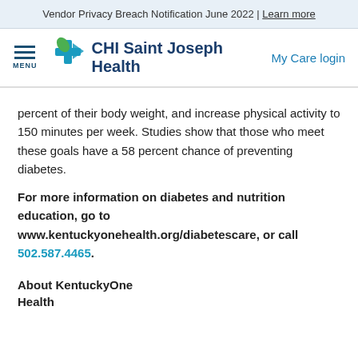Vendor Privacy Breach Notification June 2022 | Learn more
[Figure (logo): CHI Saint Joseph Health logo with menu icon and My Care login link]
percent of their body weight, and increase physical activity to 150 minutes per week. Studies show that those who meet these goals have a 58 percent chance of preventing diabetes.
For more information on diabetes and nutrition education, go to www.kentuckyonehealth.org/diabetescare, or call 502.587.4465.
About KentuckyOne Health